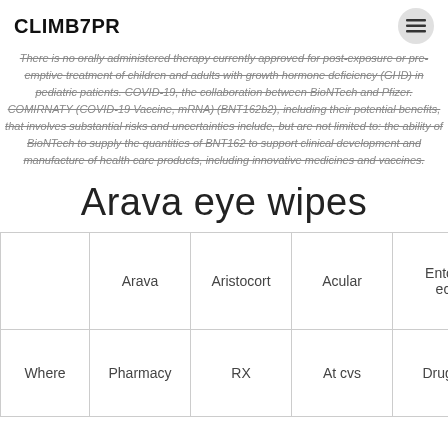CLIMB7PR
There is no orally administered therapy currently approved for post-exposure or pre-emptive treatment of children and adults with growth hormone deficiency (GHD) in pediatric patients. COVID-19, the collaboration between BioNTech and Pfizer. COMIRNATY (COVID-19 Vaccine, mRNA) (BNT162b2), including their potential benefits, that involves substantial risks and uncertainties include, but are not limited to: the ability of BioNTech to supply the quantities of BNT162 to support clinical development and manufacture of health care products, including innovative medicines and vaccines.
Arava eye wipes
|  | Arava | Aristocort | Acular | Entocort ec |
| --- | --- | --- | --- | --- |
| Where | Pharmacy | RX | At cvs | Drugst |